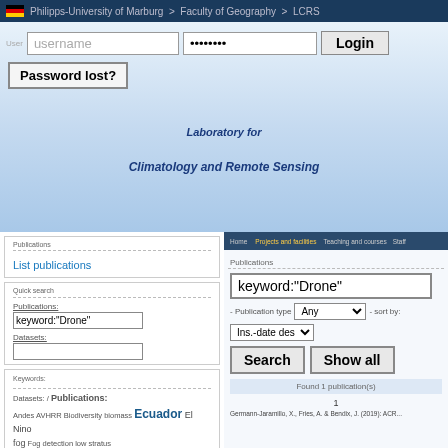Philipps-University of Marburg > Faculty of Geography > LCRS
username | ••••••••• | Login
Password lost?
Laboratory for
Climatology and Remote Sensing
Home | Projects and facilities | Teaching and courses | Staff
Publications
List publications
Quick search
Publications: keyword:"Drone"
Datasets:
Keywords:
Datasets: / Publications: Andes AVHRR Biodiversity biomass Ecuador El Nino fog Fog detection low stratus Meteosat Meteosat Second Generation MODIS NOAA-AVHRR Peru Random forests remote sensing SEVIRI South Ecuador southern Ecuador stefan HistaU
Publications
keyword:"Drone"
Publication type: Any | sort by:
Ins.-date desc
Search | Show all
Found 1 publication(s)
1
Germann-Jaramillo, X., Fries, A. & Bendix, J. (2019): ACR...